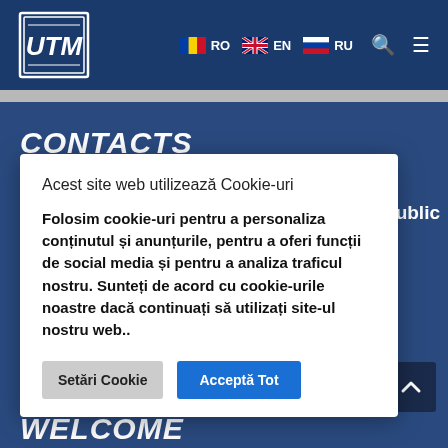[Figure (logo): UTM university logo in white on dark blue header]
RO EN RU navigation with language flags, search and menu icons
CONTACTS
u, Republic
Acest site web utilizează Cookie-uri
Folosim cookie-uri pentru a personaliza conținutul și anunțurile, pentru a oferi funcții de social media și pentru a analiza traficul nostru. Sunteți de acord cu cookie-urile noastre dacă continuați să utilizați site-ul nostru web..
Setări Cookie
Acceptă Tot
WELCOME